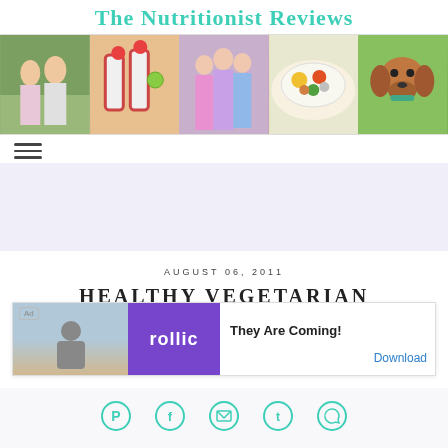The Nutritionist Reviews
[Figure (photo): Banner strip of 5 photos: couple outdoors, colorful drinks with strawberries, three children posing, colorful food bowl, and a dachshund dog]
[Figure (other): Hamburger menu icon (three horizontal lines)]
[Figure (other): Light lavender advertisement banner area]
AUGUST 06, 2011
HEALTHY VEGETARIAN
[Figure (screenshot): Advertisement overlay: Ad label, Rollic game ad with 'They Are Coming!' tagline and Download button]
[Figure (other): Social sharing bar with Pinterest, Facebook, Email, Twitter, and WhatsApp icons in teal]